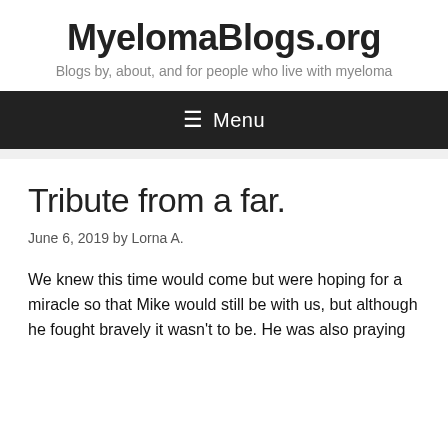MyelomaBlogs.org
Blogs by, about, and for people who live with myeloma
≡ Menu
Tribute from a far.
June 6, 2019 by Lorna A.
We knew this time would come but were hoping for a miracle so that Mike would still be with us, but although he fought bravely it wasn't to be. He was also praying